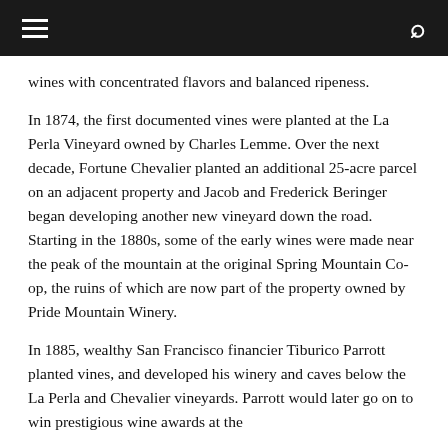☰  🔍
wines with concentrated flavors and balanced ripeness.
In 1874, the first documented vines were planted at the La Perla Vineyard owned by Charles Lemme. Over the next decade, Fortune Chevalier planted an additional 25-acre parcel on an adjacent property and Jacob and Frederick Beringer began developing another new vineyard down the road. Starting in the 1880s, some of the early wines were made near the peak of the mountain at the original Spring Mountain Co-op, the ruins of which are now part of the property owned by Pride Mountain Winery.
In 1885, wealthy San Francisco financier Tiburico Parrott planted vines, and developed his winery and caves below the La Perla and Chevalier vineyards. Parrott would later go on to win prestigious wine awards at the